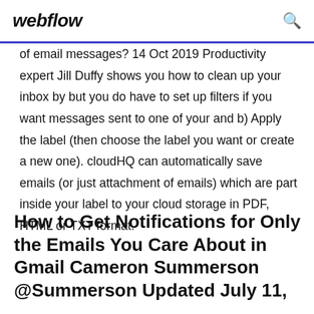webflow
of email messages? 14 Oct 2019 Productivity expert Jill Duffy shows you how to clean up your inbox by but you do have to set up filters if you want messages sent to one of your and b) Apply the label (then choose the label you want or create a new one). cloudHQ can automatically save emails (or just attachment of emails) which are part inside your label to your cloud storage in PDF, HTML or TXT format.
How to Get Notifications for Only the Emails You Care About in Gmail Cameron Summerson @Summerson Updated July 11,